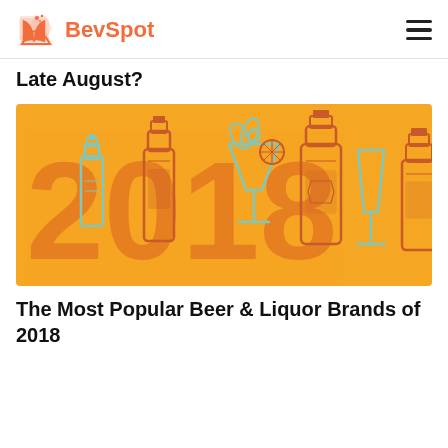BevSpot
Late August?
[Figure (illustration): Illustration of various liquor bottles and a cocktail glass on an orange/amber background with large '2018' text. Bottles and glasses are drawn in orange and teal/light blue outlines.]
The Most Popular Beer & Liquor Brands of 2018